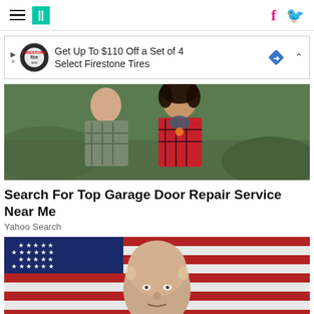HuffPost navigation with hamburger menu, logo, Facebook and Twitter icons
[Figure (infographic): Advertisement banner: Get Up To $110 Off a Set of 4 Select Firestone Tires – Firestone auto logo on left, blue diamond with arrow icon on right]
[Figure (photo): Two people hiking outdoors – a man in a plaid shirt and a woman in a red plaid jacket with a scarf, smiling, on a hillside with green vegetation]
Search For Top Garage Door Repair Service Near Me
Yahoo Search
[Figure (photo): Close-up portrait of a middle-aged bald man in front of an American flag background]